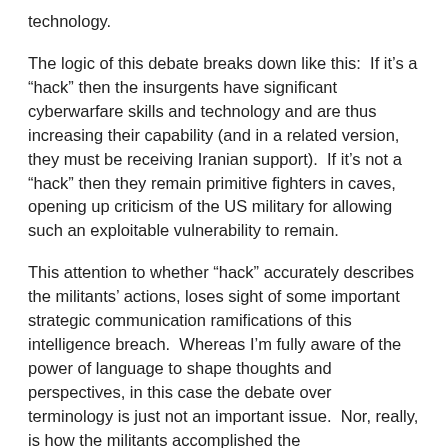technology.
The logic of this debate breaks down like this:  If it's a “hack” then the insurgents have significant cyberwarfare skills and technology and are thus increasing their capability (and in a related version, they must be receiving Iranian support).  If it's not a “hack” then they remain primitive fighters in caves, opening up criticism of the US military for allowing such an exploitable vulnerability to remain.
This attention to whether “hack” accurately describes the militants’ actions, loses sight of some important strategic communication ramifications of this intelligence breach.  Whereas I’m fully aware of the power of language to shape thoughts and perspectives, in this case the debate over terminology is just not an important issue.  Nor, really, is how the militants accomplished the